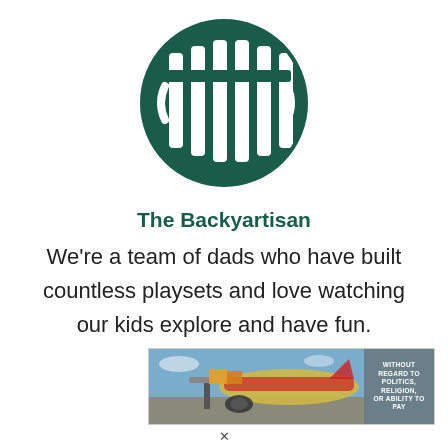[Figure (logo): Circular dark teal logo with fence/pillar design representing The Backyartisan brand]
The Backyartisan
We're a team of dads who have built countless playsets and love watching our kids explore and have fun.
[Figure (photo): Advertisement banner showing airplane cargo loading with text 'WITHOUT REGARD TO POLITICS, RELIGION, OR ABILITY TO PAY']